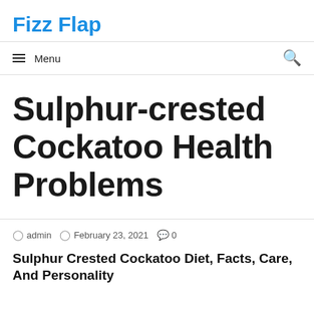Fizz Flap
☰ Menu
Sulphur-crested Cockatoo Health Problems
admin  February 23, 2021  0
Sulphur Crested Cockatoo Diet, Facts, Care, And Personality